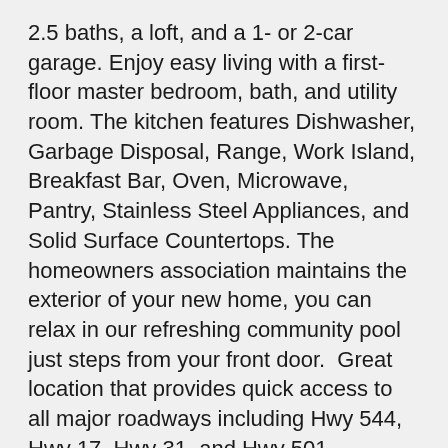2.5 baths, a loft, and a 1- or 2-car garage. Enjoy easy living with a first-floor master bedroom, bath, and utility room. The kitchen features Dishwasher, Garbage Disposal, Range, Work Island, Breakfast Bar, Oven, Microwave, Pantry, Stainless Steel Appliances, and Solid Surface Countertops. The homeowners association maintains the exterior of your new home, you can relax in our refreshing community pool just steps from your front door.  Great location that provides quick access to all major roadways including Hwy 544, Hwy 17, Hwy 31, and Hwy 501.
Townhouse Exterior Features Include – Vinyl Siding, Private One Car Garage, Fencing, Lawn Sprinkler, Patio, Rear Porch, Insulated Doors, and Windows.
Hoa Fee Calculated Monthly – $282 Includes – Electric Common, Trash Pickup, Pool Service, Landscape & Lawn, Insurance, Manager, Legal And Accounting, Cable TV, Common Maint/Pest Insp, and Pest Control.